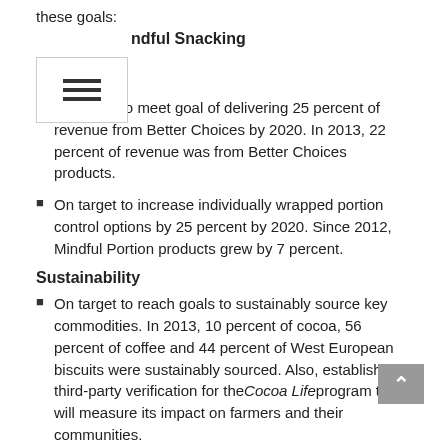these goals:
Mindful Snacking
On target to meet goal of delivering 25 percent of revenue from Better Choices by 2020. In 2013, 22 percent of revenue was from Better Choices products.
On target to increase individually wrapped portion control options by 25 percent by 2020. Since 2012, Mindful Portion products grew by 7 percent.
Sustainability
On target to reach goals to sustainably source key commodities. In 2013, 10 percent of cocoa, 56 percent of coffee and 44 percent of West European biscuits were sustainably sourced. Also, established third-party verification for the Cocoa Life program that will measure its impact on farmers and their communities.
Achieved goal to have 100 percent of palm oil RSPO (Roundtable on Sustainable Palm Oil) – two years ahead of 2015 commitment.
On target to reach global goals to reduce greenhouse gases (GHG) and water use in manufacturing by 2015. In 2013, reduced water use by 11 percent and GHG emissions by 9 percent.